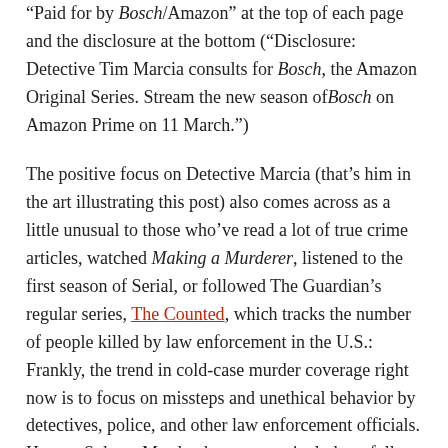“Paid for by Bosch/Amazon” at the top of each page and the disclosure at the bottom (“Disclosure: Detective Tim Marcia consults for Bosch, the Amazon Original Series. Stream the new season of Bosch on Amazon Prime on 11 March.”)
The positive focus on Detective Marcia (that’s him in the art illustrating this post) also comes across as a little unusual to those who’ve read a lot of true crime articles, watched Making a Murderer, listened to the first season of Serial, or followed The Guardian’s regular series, The Counted, which tracks the number of people killed by law enforcement in the U.S.: Frankly, the trend in cold-case murder coverage right now is to focus on missteps and unethical behavior by detectives, police, and other law enforcement officials. How to Solve a Murder, by contrast, includes a full section called “Inside the mind of a homicide detective.” (“Like many law enforcement officers around the country, Marcia is expected to stay strong